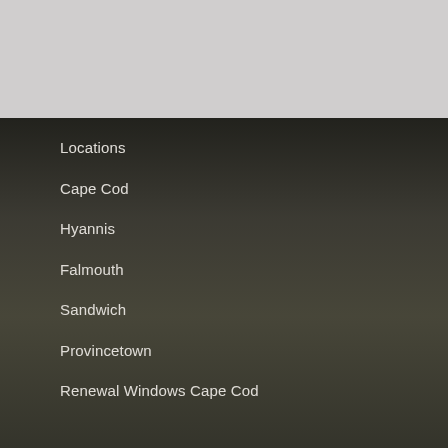Locations
Cape Cod
Hyannis
Falmouth
Sandwich
Provincetown
Renewal Windows Cape Cod
Renewal By Andersen
The Renewal Difference
Energy & Environmental Efficiency